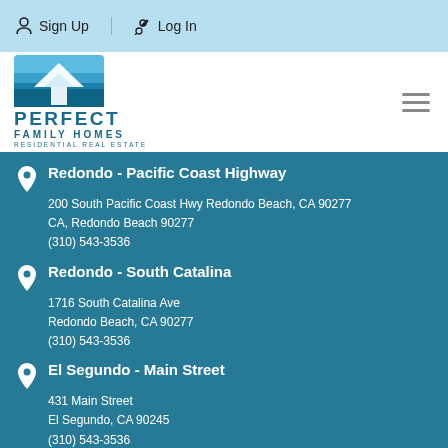Sign Up  Log In
[Figure (logo): Perfect Family Homes Residential Real Estate logo with mountain/house icon]
Redondo - Pacific Coast Highway
200 South Pacific Coast Hwy Redondo Beach, CA 90277
CA, Redondo Beach 90277
(310) 543-3536
Redondo - South Catalina
1716 South Catalina Ave
Redondo Beach, CA 90277
(310) 543-3536
El Segundo - Main Street
431 Main Street
El Segundo, CA 90245
(310) 543-3536